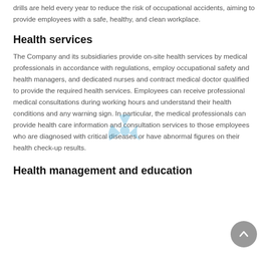drills are held every year to reduce the risk of occupational accidents, aiming to provide employees with a safe, healthy, and clean workplace.
Health services
The Company and its subsidiaries provide on-site health services by medical professionals in accordance with regulations, employ occupational safety and health managers, and dedicated nurses and contract medical doctor qualified to provide the required health services. Employees can receive professional medical consultations during working hours and understand their health conditions and any warning sign. In particular, the medical professionals can provide health care information and consultation services to those employees who are diagnosed with critical diseases or have abnormal figures on their health check-up results.
Health management and education